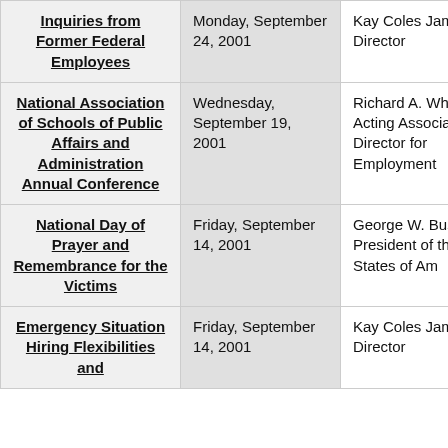| Topic | Date | Speaker |
| --- | --- | --- |
| Inquiries from Former Federal Employees | Monday, September 24, 2001 | Kay Coles James, Director |
| National Association of Schools of Public Affairs and Administration Annual Conference | Wednesday, September 19, 2001 | Richard A. Whitford, Acting Associate Director for Employment |
| National Day of Prayer and Remembrance for the Victims | Friday, September 14, 2001 | George W. Bush, President of the United States of Am... |
| Emergency Situation Hiring Flexibilities and | Friday, September 14, 2001 | Kay Coles James, Director |